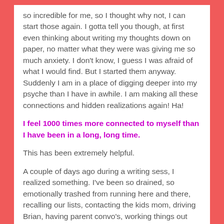so incredible for me, so I thought why not, I can start those again. I gotta tell you though, at first even thinking about writing my thoughts down on paper, no matter what they were was giving me so much anxiety. I don't know, I guess I was afraid of what I would find. But I started them anyway. Suddenly I am in a place of digging deeper into my psyche than I have in awhile. I am making all these connections and hidden realizations again! Ha!
I feel 1000 times more connected to myself than I have been in a long, long time.
This has been extremely helpful.
A couple of days ago during a writing sess, I realized something. I've been so drained, so emotionally trashed from running here and there, recalling our lists, contacting the kids mom, driving Brian, having parent convo's, working things out with teachers, having more issues with him, etc. I realized that all of